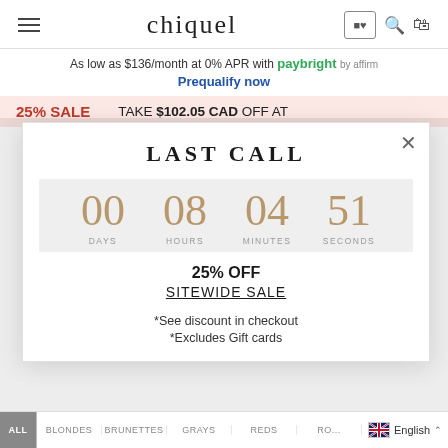chiquel
As low as $136/month at 0% APR with paybright by affirm
Prequalify now
25% SALE  TAKE $102.05 CAD OFF AT
LAST CALL
[Figure (infographic): Countdown timer showing 00 DAYS, 08 HOURS, 04 MINUTES, 51 SECONDS in gold numerals on a gray background]
25% OFF
SITEWIDE SALE
*See discount in checkout
*Excludes Gift cards
ALL  BLONDES  BRUNETTES  GRAYS  REDS  RO...   English